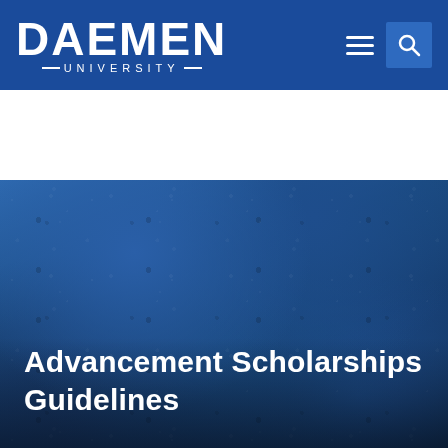DAEMEN UNIVERSITY
[Figure (screenshot): Daemen University website header screenshot with navigation bar showing logo, hamburger menu, and search icon on a blue background, followed by a textured dark blue hero image.]
Advancement Scholarships Guidelines